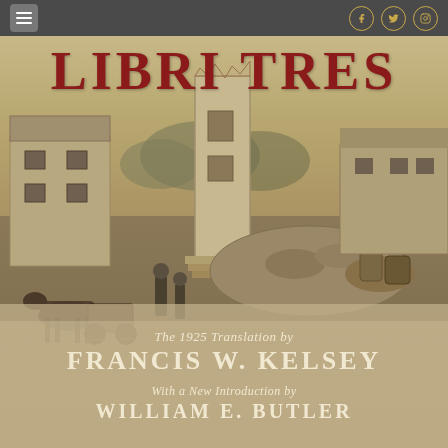Navigation bar with menu icon and social media icons (Facebook, Twitter, Instagram)
LIBRI TRES
[Figure (photo): Sepia-toned historical photograph showing war ruins of a building with a tall remaining stone wall/chimney, soldiers and horse-drawn cart in foreground, other damaged structures in background]
The 1925 Translation by
FRANCIS W. KELSEY
With a New Introduction by
WILLIAM E. BUTLER